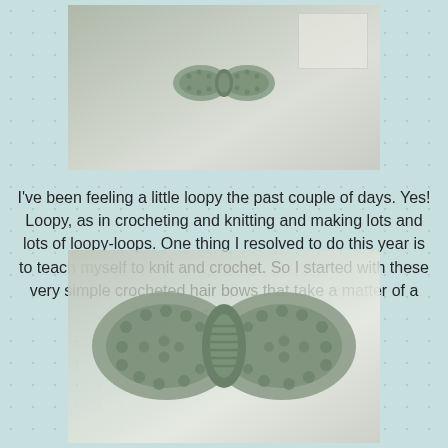[Figure (photo): Small crocheted hair bow in sage green color, photographed on a light surface with a frame or card visible in the background]
I've been feeling a little loopy the past couple of days.  Yes! Loopy, as in crocheting and knitting and making lots and lots of loopy-loops.  One thing I resolved to do this year is to teach myself to knit and crochet.  So I started with these very simple crocheted hair bows that take a matter of a few minutes to whip up.
[Figure (photo): Close-up of a sage green crocheted hair bow showing the detailed loopy texture and center knot wrap, photographed on a light surface]